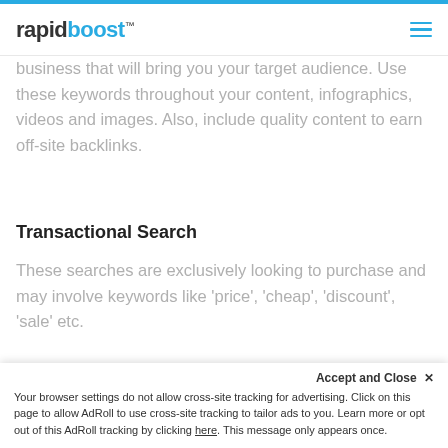rapidboost™
business that will bring you your target audience. Use these keywords throughout your content, infographics, videos and images. Also, include quality content to earn off-site backlinks.
Transactional Search
These searches are exclusively looking to purchase and may involve keywords like 'price', 'cheap', 'discount', 'sale' etc.
Strategy
Accept and Close ×
Your browser settings do not allow cross-site tracking for advertising. Click on this page to allow AdRoll to use cross-site tracking to tailor ads to you. Learn more or opt out of this AdRoll tracking by clicking here. This message only appears once.